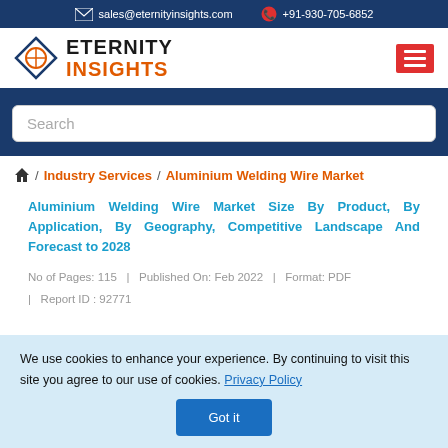sales@eternityinsights.com  +91-930-705-6852
[Figure (logo): Eternity Insights logo with diamond shape icon and text ETERNITY INSIGHTS]
Search
/ Industry Services / Aluminium Welding Wire Market
Aluminium Welding Wire Market Size By Product, By Application, By Geography, Competitive Landscape And Forecast to 2028
No of Pages: 115   |   Published On: Feb 2022   |   Format: PDF   |   Report ID : 92771
We use cookies to enhance your experience. By continuing to visit this site you agree to our use of cookies. Privacy Policy
Got it